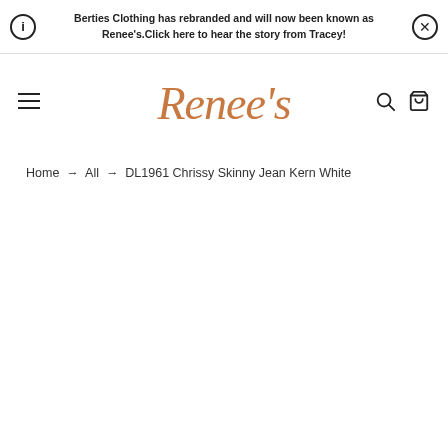Berties Clothing has rebranded and will now been known as Renee's.Click here to hear the story from Tracey!
[Figure (logo): Renee's script logo in copper/terracotta color]
Home → All → DL1961 Chrissy Skinny Jean Kern White